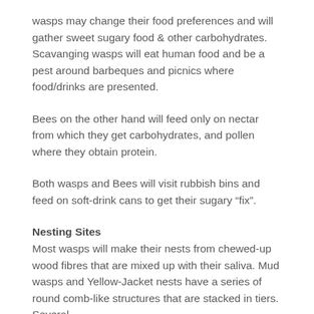wasps may change their food preferences and will gather sweet sugary food & other carbohydrates. Scavanging wasps will eat human food and be a pest around barbeques and picnics where food/drinks are presented.
Bees on the other hand will feed only on nectar from which they get carbohydrates, and pollen where they obtain protein.
Both wasps and Bees will visit rubbish bins and feed on soft-drink cans to get their sugary “fix”.
Nesting Sites
Most wasps will make their nests from chewed-up wood fibres that are mixed up with their saliva. Mud wasps and Yellow-Jacket nests have a series of round comb-like structures that are stacked in tiers. Several